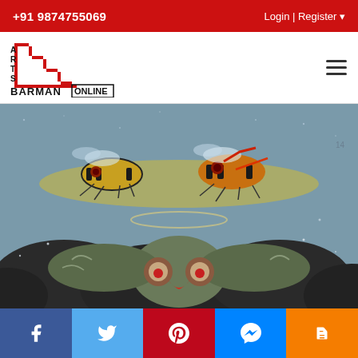+91 9874755069  Login | Register
[Figure (logo): Arts Barman Online logo with staircase design in red and black]
[Figure (illustration): Painting depicting stylized bees or insects flying above an owl-like creature against a grey-blue sky and dark ground]
Social share buttons: Facebook, Twitter, Pinterest, Messenger, Blogger